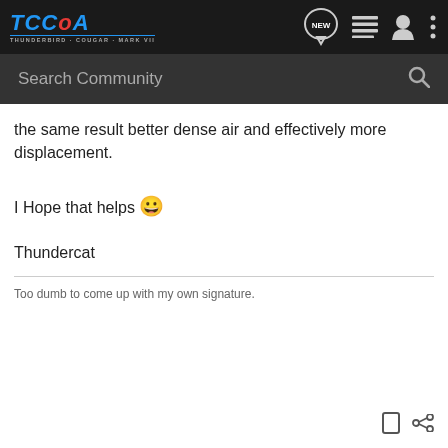[Figure (screenshot): TCCoA website navigation bar with logo, NEW button, list icon, user icon, and menu icon on dark background]
[Figure (screenshot): Search Community input bar with magnifying glass icon on dark grey background]
the same result better dense air and effectively more displacement.
I Hope that helps 😀
Thundercat
Too dumb to come up with my own signature.